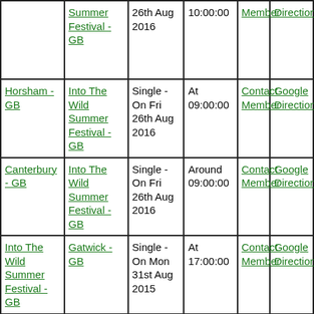| Location | Event | Date | Time | Contact | Directions |
| --- | --- | --- | --- | --- | --- |
|  | Summer Festival - GB | 26th Aug 2016 | 10:00:00 | Member | Directions |
| Horsham - GB | Into The Wild Summer Festival - GB | Single - On Fri 26th Aug 2016 | At 09:00:00 | Contact Member | Google Directions |
| Canterbury - GB | Into The Wild Summer Festival - GB | Single - On Fri 26th Aug 2016 | Around 09:00:00 | Contact Member | Google Directions |
| Into The Wild Summer Festival - GB | Gatwick - GB | Single - On Mon 31st Aug 2015 | At 17:00:00 | Contact Member | Google Directions |
| Catwick | Into The Wild | Single - On Fri | At | Contact | Google |